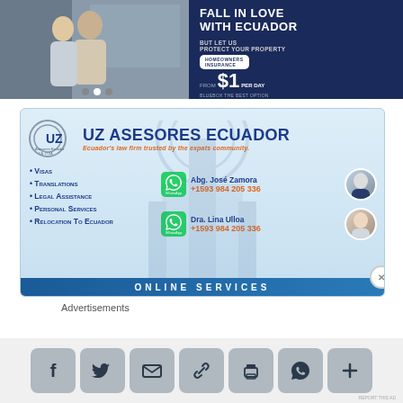[Figure (photo): Top banner advertisement showing couple and homeowners insurance from $1 per day, FALL IN LOVE WITH ECUADOR, BLUEBOX]
[Figure (infographic): UZ Asesores Ecuador advertisement - Ecuador's law firm trusted by the expats community. Services: Visas, Translations, Legal Assistance, Personal Services, Relocation To Ecuador. Contacts: Abg. José Zamora and Dra. Lina Ulloa, +1593 984 205 336]
Advertisements
[Figure (infographic): Social sharing icons row: Facebook, Twitter, Email, Link, Print, WhatsApp, Plus]